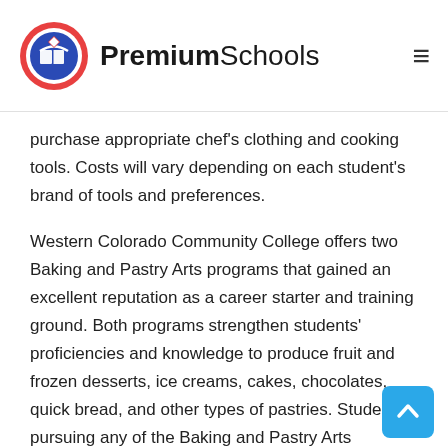PremiumSchools
purchase appropriate chef's clothing and cooking tools. Costs will vary depending on each student's brand of tools and preferences.
Western Colorado Community College offers two Baking and Pastry Arts programs that gained an excellent reputation as a career starter and training ground. Both programs strengthen students' proficiencies and knowledge to produce fruit and frozen desserts, ice creams, cakes, chocolates, quick bread, and other types of pastries. Students pursuing any of the Baking and Pastry Arts programs will have the opportunity to participate in competitions and catering events.
Aside from the general course objectives, the Associate of Applied Science in Baking and Pastry program will include